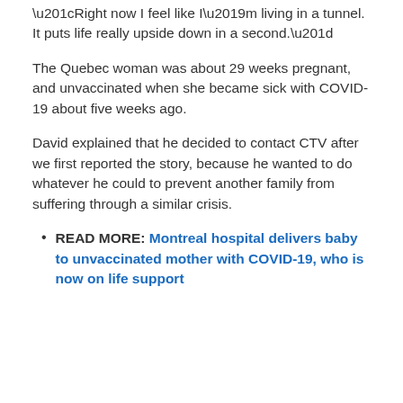“Right now I feel like I’m living in a tunnel. It puts life really upside down in a second.”
The Quebec woman was about 29 weeks pregnant, and unvaccinated when she became sick with COVID-19 about five weeks ago.
David explained that he decided to contact CTV after we first reported the story, because he wanted to do whatever he could to prevent another family from suffering through a similar crisis.
READ MORE: Montreal hospital delivers baby to unvaccinated mother with COVID-19, who is now on life support